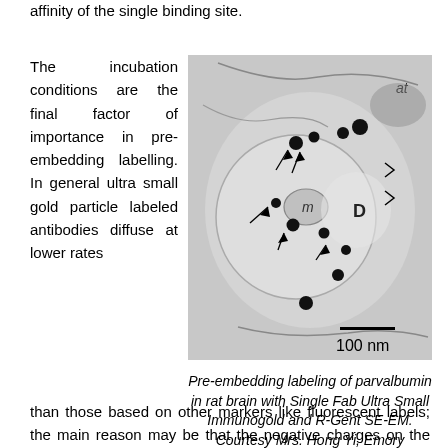affinity of the single binding site.
The incubation conditions are the final factor of importance in pre-embedding labelling. In general ultra small gold particle labeled antibodies diffuse at lower rates than those based on other markers like fluorescent labels; the main reason may be that the negative charges on the gold
[Figure (photo): Transmission electron micrograph showing pre-embedding labeling of parvalbumin in rat brain with Single Fab Ultra Small Immunogold and R-Gent SE-EM. The image shows a dendrite (D) with mitochondria (m), axon terminal (at), dark gold particles, and arrows indicating labeling sites. Scale bar: 100 nm.]
Pre-embedding labeling of parvalbumin in rat brain with Single Fab Ultra Small Immunogold and R-Gent SE-EM. Courtesy Mrs. Hong Yi, Emory University, Atlanta